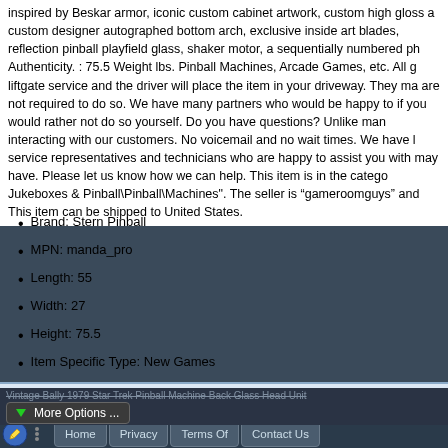inspired by Beskar armor, iconic custom cabinet artwork, custom high gloss a custom designer autographed bottom arch, exclusive inside art blades, reflection pinball playfield glass, shaker motor, a sequentially numbered ph Authenticity. : 75.5 Weight lbs. Pinball Machines, Arcade Games, etc. All g liftgate service and the driver will place the item in your driveway. They ma are not required to do so. We have many partners who would be happy to if you would rather not do so yourself. Do you have questions? Unlike man interacting with our customers. No voicemail and no wait times. We have l service representatives and technicians who are happy to assist you with may have. Please let us know how we can help. This item is in the catego Jukeboxes & Pinball\Pinball\Machines". The seller is “gameroomguys” and This item can be shipped to United States.
Brand: Stern Pinball
MPN: manda_pro
Length: 55
Width: 27
Height: 75.5
Item Specific Type: New Games
Tags: machine, mandalorian, pinball, star, stern, wars  Categories: Uncategorized  Posted B  Last Edit  Email • P
Vintage Bally 1979 Star Trek Pinball Machine Back Glass Head Unit
More Options ...
Home  Privacy  Terms Of  Contact Us